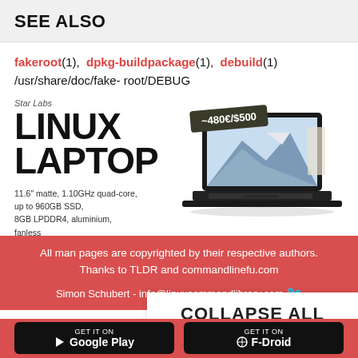SEE ALSO
fakeroot(1), dpkg-buildpackage(1), debuild(1)
/usr/share/doc/fake- root/DEBUG
[Figure (illustration): Star Labs Linux Laptop advertisement showing a black laptop with mountain wallpaper, price tag ~480€/$500, specs: 11.6" matte, 1.10GHz quad-core, up to 960GB SSD, 8GB LPDDR4, aluminium, fanless]
All man pages are copyrighted by their respective authors.
Thanks to TLDR and commandlinefu.com
Simon Schubert - info@linuxcommandlibrary.com
COLLAPSE ALL
GET IT ON
GET IT ON